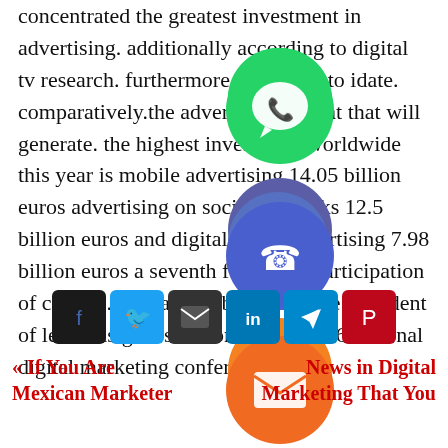concentrated the greatest investment in advertising. additionally according to digital tv research. furthermore according to idate. comparatively.the advertising format that will generate. the highest investment worldwide this year is mobile advertising 14.05 billion euros advertising on social networks 12.5 billion euros and digital video advertising 7.98 billion euros a seventh fact is the participation of claudio. China B2B becomes vice president of lexia insights solutions at the 2016 national digital marketing conference
[Figure (infographic): Social media sharing icons overlaid on text: WhatsApp (green), phone/Viber (blue-purple), email (orange), LINE (green outline), Viber (purple), and a close/X button (green). Below: a share bar with Facebook, Twitter, Email, LinkedIn, Telegram, Pinterest square icon buttons.]
« If You Are Mexican Marketer   News in Digital Marketing That You